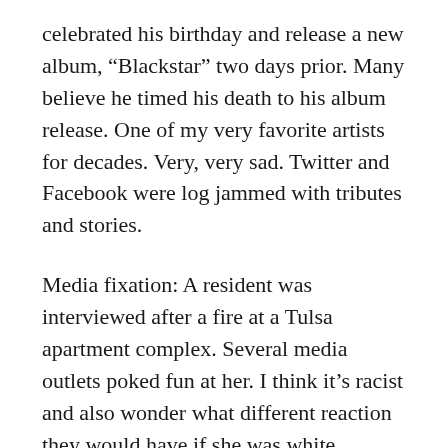celebrated his birthday and release a new album, “Blackstar” two days prior. Many believe he timed his death to his album release. One of my very favorite artists for decades. Very, very sad. Twitter and Facebook were log jammed with tributes and stories.
Media fixation: A resident was interviewed after a fire at a Tulsa apartment complex. Several media outlets poked fun at her. I think it’s racist and also wonder what different reaction they would have if she was white. http://tinyurl.com/h2nm4u3
Sean Penn’s interview with Joaquin “El Chapo” Guzman, the Mexican drug-lord  plays a role in